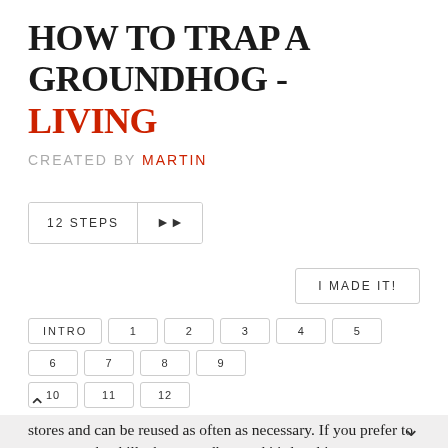HOW TO TRAP A GROUNDHOG - LIVING
CREATED BY MARTIN
12 STEPS ▶▶
I MADE IT!
INTRO 1 2 3 4 5 6 7 8 9 10 11 12
stores and can be reused as often as necessary. If you prefer to use a trap that kills the groundhog and it's legal in your state to do so, call a professional groundhog extermination service to have them set the trap and deal with the groundhog after it's been caught. This is not